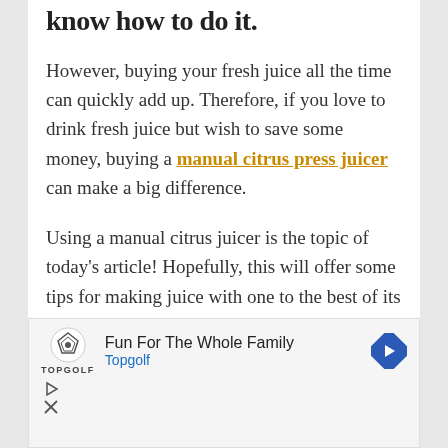know how to do it.
However, buying your fresh juice all the time can quickly add up. Therefore, if you love to drink fresh juice but wish to save some money, buying a manual citrus press juicer can make a big difference.
Using a manual citrus juicer is the topic of today's article! Hopefully, this will offer some tips for making juice with one to the best of its ability.
[Figure (other): Advertisement banner for Topgolf with logo, text 'Fun For The Whole Family', 'Topgolf', a blue diamond arrow icon, and ad controls (play and close buttons).]